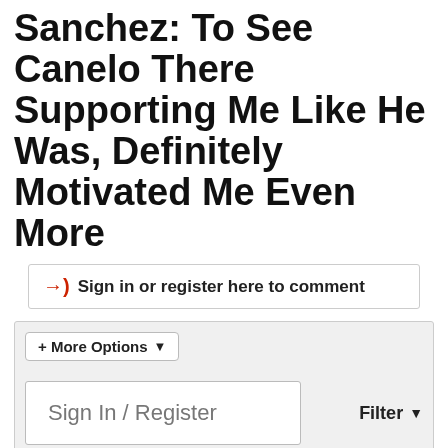Sanchez: To See Canelo There Supporting Me Like He Was, Definitely Motivated Me Even More
Sign in or register here to comment
+ More Options
Sign In / Register
Filter
1 2 3 Next
BIGPOPPAPUMP
Franchise Champion
Join Date: Sep 2003  Posts: 34872